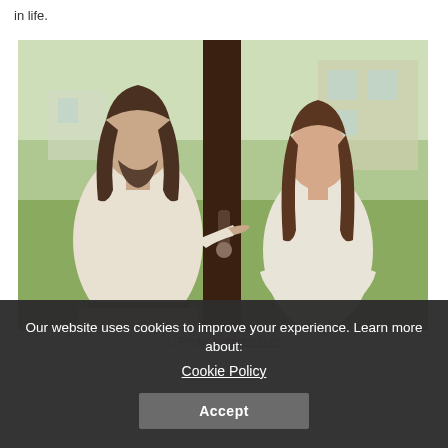in life.
[Figure (photo): A man with long hair and beard pointing at a woman standing at a doorway, appearing to have an argument. Outdoor background with greenery and buildings visible through glass.]
Photo: pinterest.com
Our website uses cookies to improve your experience. Learn more about: Cookie Policy Accept